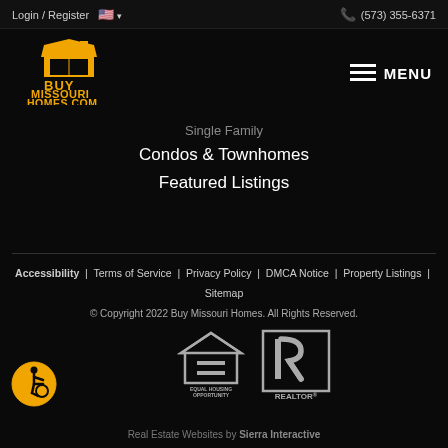Login / Register   🇺🇸 ▾   (573) 355-6371
[Figure (logo): Buy Missouri Homes.com logo with house icon in gold/yellow]
≡ MENU
Single Family
Condos & Townhomes
Featured Listings
Accessibility | Terms of Service | Privacy Policy | DMCA Notice | Property Listings | Sitemap
© Copyright 2022 Buy Missouri Homes. All Rights Reserved.
[Figure (logo): Equal Housing Opportunity logo]
[Figure (logo): REALTOR® logo]
[Figure (logo): Accessibility icon - yellow circle with wheelchair symbol]
Real Estate Websites by Sierra Interactive